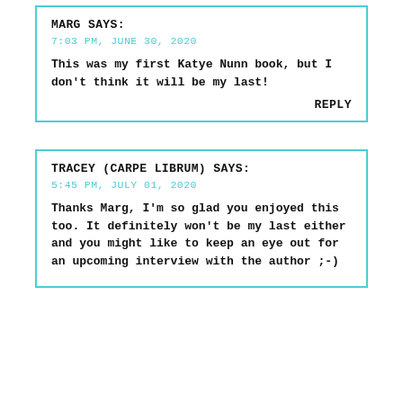MARG SAYS:
7:03 PM, JUNE 30, 2020
This was my first Katye Nunn book, but I don't think it will be my last!
REPLY
TRACEY (CARPE LIBRUM) SAYS:
5:45 PM, JULY 01, 2020
Thanks Marg, I'm so glad you enjoyed this too. It definitely won't be my last either and you might like to keep an eye out for an upcoming interview with the author ;-)